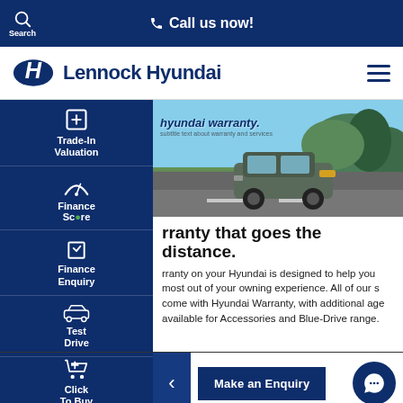Call us now!
Lennock Hyundai
[Figure (photo): Hyundai SUV driving on road with trees and hills in background, with 'Hyundai warranty.' text overlay]
rranty that goes the distance.
rranty on your Hyundai is designed to help you most out of your owning experience. All of our s come with Hyundai Warranty, with additional age available for Accessories and Blue-Drive range.
Make an Enquiry